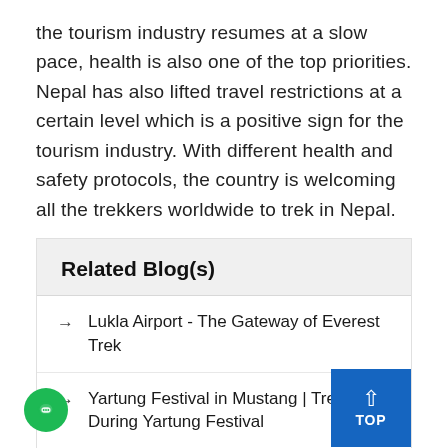the tourism industry resumes at a slow pace, health is also one of the top priorities. Nepal has also lifted travel restrictions at a certain level which is a positive sign for the tourism industry. With different health and safety protocols, the country is welcoming all the trekkers worldwide to trek in Nepal.
Related Blog(s)
Lukla Airport - The Gateway of Everest Trek
Yartung Festival in Mustang | Trekking During Yartung Festival
Luxury Way to Trek Everest Base Camp
Bag Pack Guide for Everest Trekking | Everest